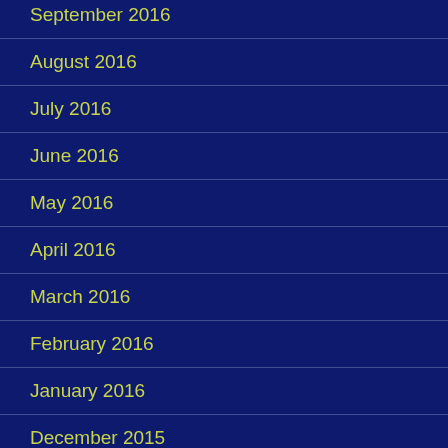September 2016
August 2016
July 2016
June 2016
May 2016
April 2016
March 2016
February 2016
January 2016
December 2015
November 2015